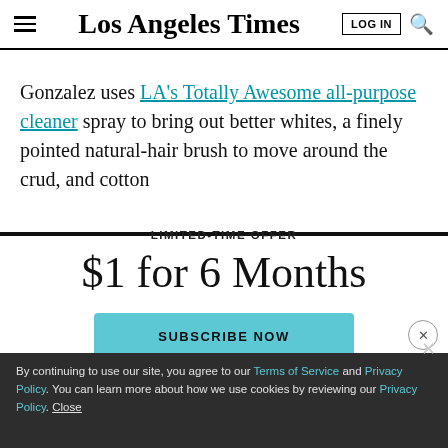Los Angeles Times
Gonzalez uses LA's Totally Awesome all-purpose cleaner spray to bring out better whites, a finely pointed natural-hair brush to move around the crud, and cotton
LIMITED-TIME OFFER
$1 for 6 Months
SUBSCRIBE NOW
By continuing to use our site, you agree to our Terms of Service and Privacy Policy. You can learn more about how we use cookies by reviewing our Privacy Policy. Close